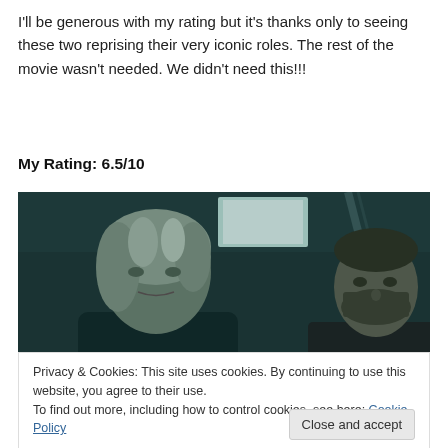I'll be generous with my rating but it's thanks only to seeing these two reprising their very iconic roles. The rest of the movie wasn't needed. We didn't need this!!!
My Rating: 6.5/10
[Figure (photo): Movie still showing two actors in a dark, teal-lit scene. On the left, a woman with short grey-white hair looking concerned. On the right, a bearded older man in a dark jacket.]
Privacy & Cookies: This site uses cookies. By continuing to use this website, you agree to their use.
To find out more, including how to control cookies, see here: Cookie Policy
Close and accept